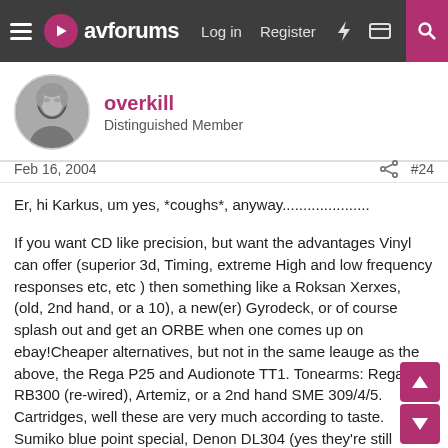avforums — Log in   Register
overkill
Distinguished Member
Feb 16, 2004   #24
Er, hi Karkus, um yes, *coughs*, anyway.....................
If you want CD like precision, but want the advantages Vinyl can offer (superior 3d, Timing, extreme High and low frequency responses etc, etc ) then something like a Roksan Xerxes, (old, 2nd hand, or a 10), a new(er) Gyrodeck, or of course splash out and get an ORBE when one comes up on ebay!Cheaper alternatives, but not in the same leauge as the above, the Rega P25 and Audionote TT1. Tonearms: Rega RB300 (re-wired), Artemiz, or a 2nd hand SME 309/4/5. Cartridges, well these are very much according to taste. Sumiko blue point special, Denon DL304 (yes they're still around!), AT OC9ML, Ortofon Kontrapunkt series, MC25FL.....